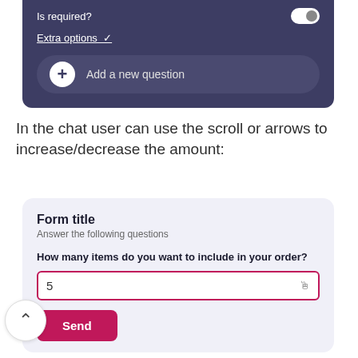[Figure (screenshot): Dark purple panel showing 'Is required?' toggle (on), 'Extra options' dropdown link, and an 'Add a new question' button with a plus circle]
In the chat user can use the scroll or arrows to increase/decrease the amount:
[Figure (screenshot): Chat form preview with title 'Form title', subtitle 'Answer the following questions', bold question 'How many items do you want to include in your order?', a number input field showing '5' with a cursor icon, and a pink 'Send' button. A circular scroll/arrow button appears to the left of the form.]